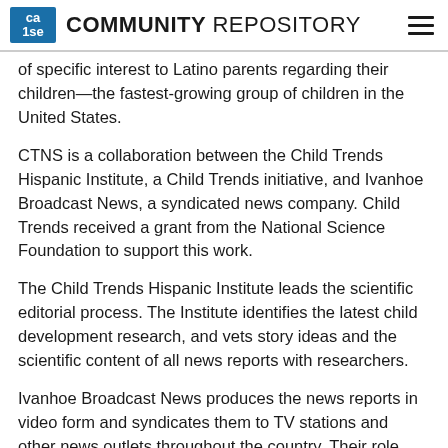ca|se COMMUNITY REPOSITORY
of specific interest to Latino parents regarding their children—the fastest-growing group of children in the United States.
CTNS is a collaboration between the Child Trends Hispanic Institute, a Child Trends initiative, and Ivanhoe Broadcast News, a syndicated news company. Child Trends received a grant from the National Science Foundation to support this work.
The Child Trends Hispanic Institute leads the scientific editorial process. The Institute identifies the latest child development research, and vets story ideas and the scientific content of all news reports with researchers.
Ivanhoe Broadcast News produces the news reports in video form and syndicates them to TV stations and other news outlets throughout the country. Their role includes reviewing story ideas for news worthiness, conducting